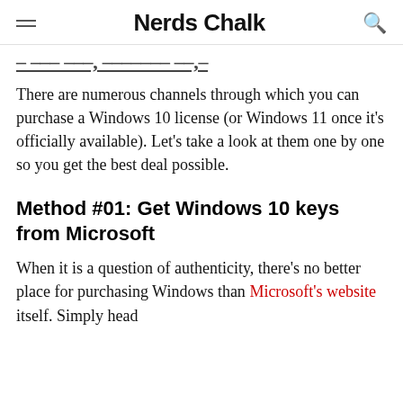Nerds Chalk
Where Can I Buy Windows 10?…
There are numerous channels through which you can purchase a Windows 10 license (or Windows 11 once it's officially available). Let's take a look at them one by one so you get the best deal possible.
Method #01: Get Windows 10 keys from Microsoft
When it is a question of authenticity, there's no better place for purchasing Windows than Microsoft's website itself. Simply head